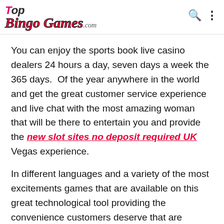[Figure (logo): TopBingoGames.com website logo with pink and red stylized text on white background]
You can enjoy the sports book live casino dealers 24 hours a day, seven days a week the 365 days.  Of the year anywhere in the world and get the great customer service experience and live chat with the most amazing woman that will be there to entertain you and provide the new slot sites no deposit required UK Vegas experience.
In different languages and a variety of the most excitements games that are available on this great technological tool providing the convenience customers deserve that are enjoying this great service provide by your sports book live casino dealer provider.